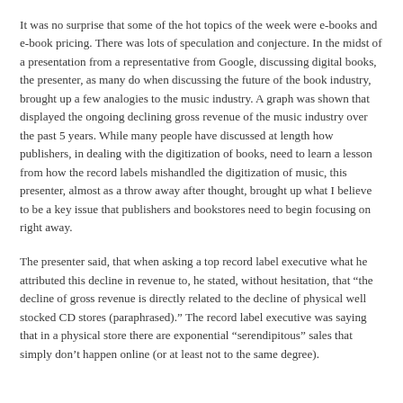It was no surprise that some of the hot topics of the week were e-books and e-book pricing. There was lots of speculation and conjecture. In the midst of a presentation from a representative from Google, discussing digital books, the presenter, as many do when discussing the future of the book industry, brought up a few analogies to the music industry. A graph was shown that displayed the ongoing declining gross revenue of the music industry over the past 5 years. While many people have discussed at length how publishers, in dealing with the digitization of books, need to learn a lesson from how the record labels mishandled the digitization of music, this presenter, almost as a throw away after thought, brought up what I believe to be a key issue that publishers and bookstores need to begin focusing on right away.
The presenter said, that when asking a top record label executive what he attributed this decline in revenue to, he stated, without hesitation, that “the decline of gross revenue is directly related to the decline of physical well stocked CD stores (paraphrased).” The record label executive was saying that in a physical store there are exponential “serendipitous” sales that simply don’t happen online (or at least not to the same degree).